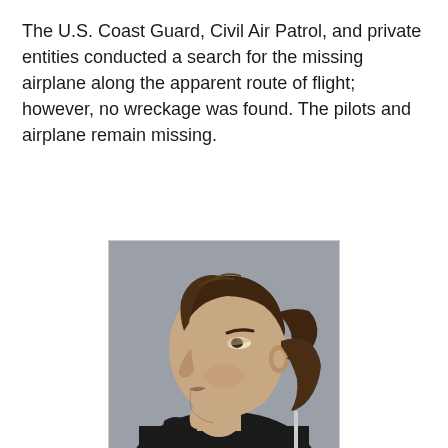The U.S. Coast Guard, Civil Air Patrol, and private entities conducted a search for the missing airplane along the apparent route of flight; however, no wreckage was found. The pilots and airplane remain missing.
[Figure (photo): Side profile photograph of a man with medium-length brown hair wearing a black garment, photographed against a gray background.]